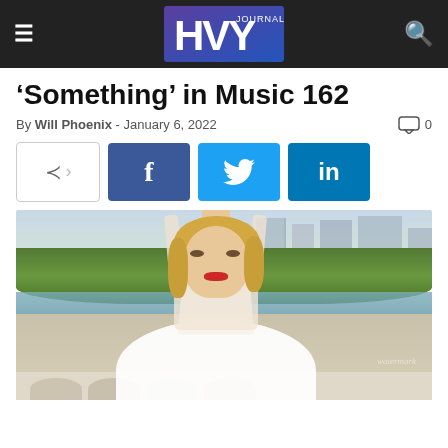HVY JOURNALISTS
'Something' in Music 162
By Will Phoenix - January 6, 2022   0
[Figure (other): Social share buttons row: share icon, Facebook, Twitter, LinkedIn]
[Figure (photo): Blonde woman in white lace wedding dress standing on Bow Bridge in Central Park, NYC, with trees, water, and city buildings in background]